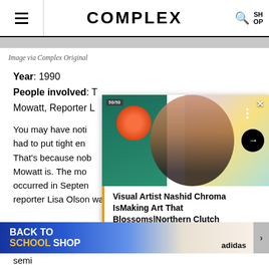COMPLEX
Image via Complex Original
Year: 1990
People involved: T... Mowatt, Reporter L...
You may have noti... had to put tight en... That's because nob... Mowatt is. The mo... occurred in Septen... reporter Lisa Olson was confronted by a handful of semi...
[Figure (photo): Video overlay card showing a man smiling in front of colorful artwork with title: Visual Artist Nashid Chroma IsMaking Art That Blossoms|Northern Clutch]
Visual Artist Nashid Chroma IsMaking Art That Blossoms|Northern Clutch
[Figure (photo): Advertisement banner: BACK TO SCHOOL SHOP with Adidas branding and sneaker image]